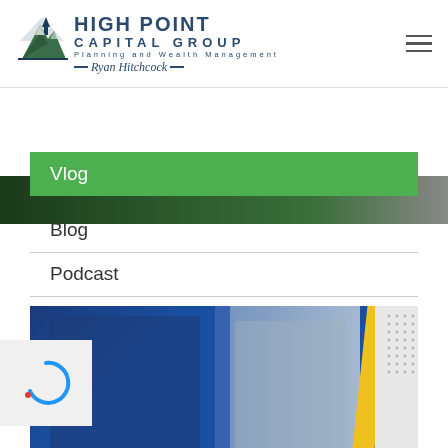[Figure (logo): High Point Capital Group logo with mountain graphic and Ryan Hitchcock name]
[Figure (photo): Hero image strip showing partial view of a person outdoors]
Vlog
Blog
Podcast
[Figure (screenshot): Video thumbnail showing two men in a financial discussion panel]